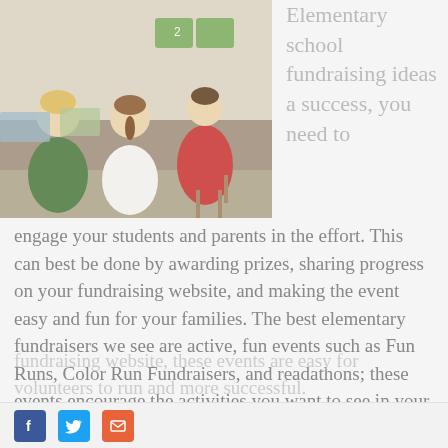[Figure (photo): Children sitting in an elementary school classroom, viewed from behind, working at desks with storage bins and supplies visible]
Elementary school fundraising ideas a success, you need to engage your students and parents in the effort. This can best be done by awarding prizes, sharing progress on your fundraising website, and making the event easy and fun for your families. The best elementary fundraisers we see are active, fun events such as Fun Runs, Color Run Fundraisers, and readathons; these events encourage the activities you want to see in your Elementary school children.
With the implementation of a peer-to-peer fundraising website, these events are easy for volunteers to run and more successful.